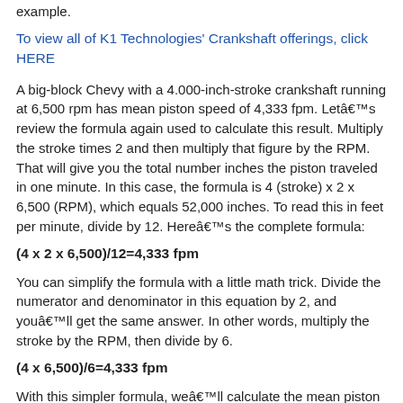example.
To view all of K1 Technologies' Crankshaft offerings, click HERE
A big-block Chevy with a 4.000-inch-stroke crankshaft running at 6,500 rpm has mean piston speed of 4,333 fpm. Letâ€™s review the formula again used to calculate this result. Multiply the stroke times 2 and then multiply that figure by the RPM. That will give you the total number inches the piston traveled in one minute. In this case, the formula is 4 (stroke) x 2 x 6,500 (RPM), which equals 52,000 inches. To read this in feet per minute, divide by 12. Hereâ€™s the complete formula:
You can simplify the formula with a little math trick. Divide the numerator and denominator in this equation by 2, and youâ€™ll get the same answer. In other words, multiply the stroke by the RPM, then divide by 6.
With this simpler formula, weâ€™ll calculate the mean piston